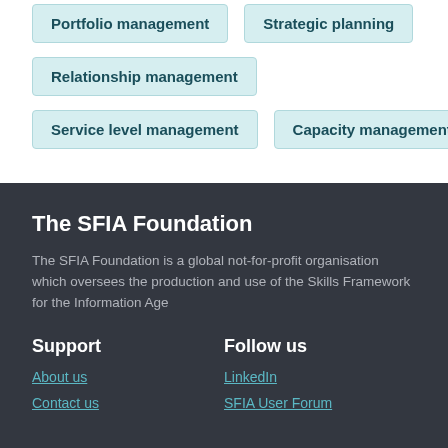Portfolio management
Strategic planning
Relationship management
Service level management
Capacity management
The SFIA Foundation
The SFIA Foundation is a global not-for-profit organisation which oversees the production and use of the Skills Framework for the Information Age
Support
Follow us
About us
LinkedIn
Contact us
SFIA User Forum